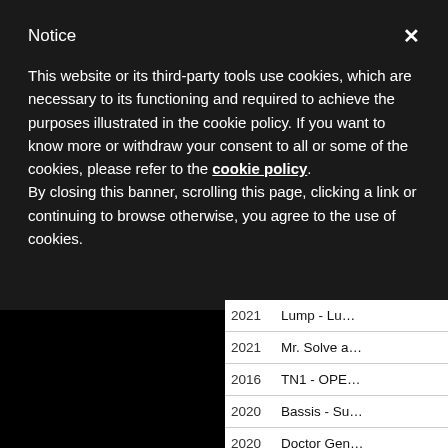Notice
This website or its third-party tools use cookies, which are necessary to its functioning and required to achieve the purposes illustrated in the cookie policy. If you want to know more or withdraw your consent to all or some of the cookies, please refer to the cookie policy.
By closing this banner, scrolling this page, clicking a link or continuing to browse otherwise, you agree to the use of cookies.
| Year | Title |
| --- | --- |
| 2021 | Lump - Lu… |
| 2021 | Mr. Solve a… |
| 2016 | TN1 - OPE… |
| 2020 | Bassis - Su… |
| 2020 | Doctor Gen… |
| 2021 | Skerce - Fr… |